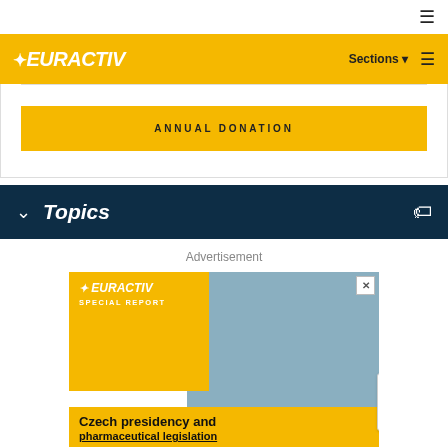≡
[Figure (logo): EURACTIV logo in white on yellow header with Sections menu and hamburger icon]
ANNUAL DONATION
Topics
Advertisement
[Figure (screenshot): EURACTIV Special Report advertisement banner: Czech presidency and pharmaceutical legislation, with background photo of laboratory worker]